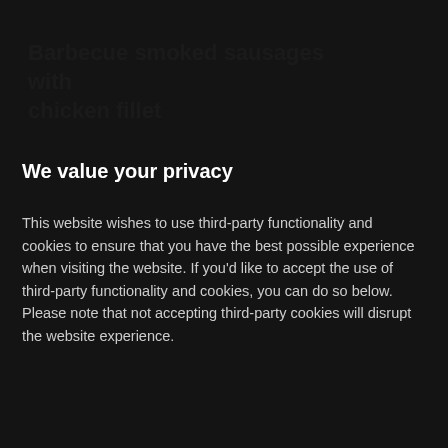Barbecue smoked sausages with chicken fillet
We value your privacy
This website wishes to use third-party functionality and cookies to ensure that you have the best possible experience when visiting the website. If you'd like to accept the use of third-party functionality and cookies, you can do so below. Please note that not accepting third-party cookies will disrupt the website experience.
Necessary (checked)
Third-party cookies (unchecked)
Accept selected
Accept all
Barbecue smoked ... with beef